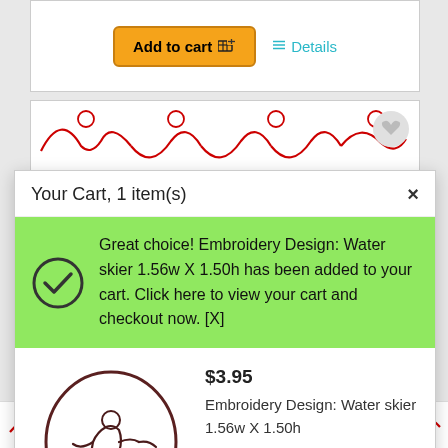[Figure (screenshot): Add to cart button (orange) and Details link (teal/cyan) in a white panel]
[Figure (screenshot): Background product strip with red decorative scrollwork and heart icon]
Your Cart, 1 item(s)
Great choice! Embroidery Design: Water skier 1.56w X 1.50h has been added to your cart. Click here to view your cart and checkout now. [X]
[Figure (illustration): Embroidery design showing a water skier inside a circular border]
$3.95
Embroidery Design: Water skier 1.56w X 1.50h